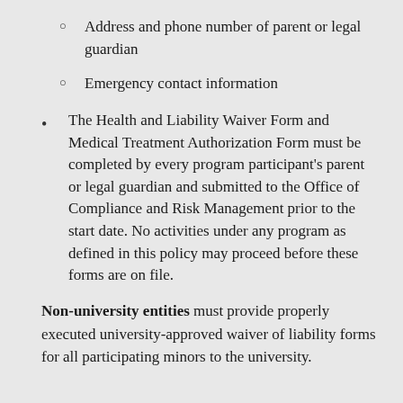Address and phone number of parent or legal guardian
Emergency contact information
The Health and Liability Waiver Form and Medical Treatment Authorization Form must be completed by every program participant’s parent or legal guardian and submitted to the Office of Compliance and Risk Management prior to the start date. No activities under any program as defined in this policy may proceed before these forms are on file.
Non-university entities must provide properly executed university-approved waiver of liability forms for all participating minors to the university.